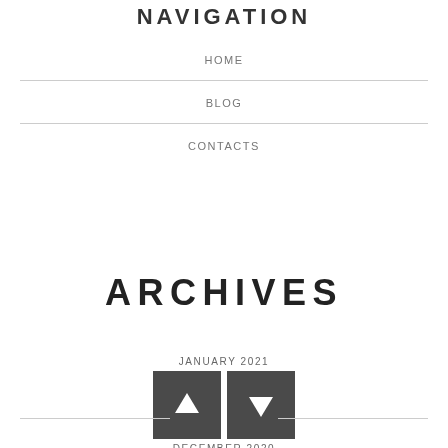NAVIGATION
HOME
BLOG
CONTACTS
ARCHIVES
JANUARY 2021
[Figure (infographic): Two navigation arrow buttons (up and down) in dark grey square boxes, with JANUARY 2021 above and DECEMBER 2020 below]
DECEMBER 2020